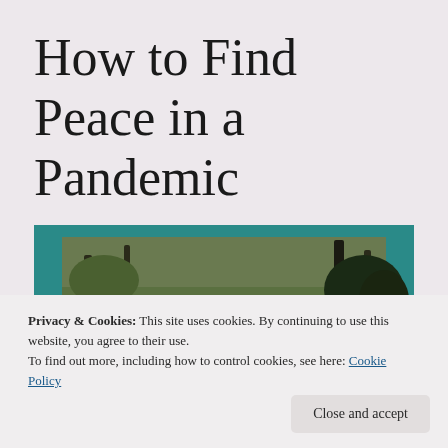How to Find Peace in a Pandemic
[Figure (photo): A nature photograph showing a bush trail with green grasses, shrubs and trees, framed by a teal/turquoise decorative border.]
Privacy & Cookies: This site uses cookies. By continuing to use this website, you agree to their use.
To find out more, including how to control cookies, see here: Cookie Policy
Close and accept